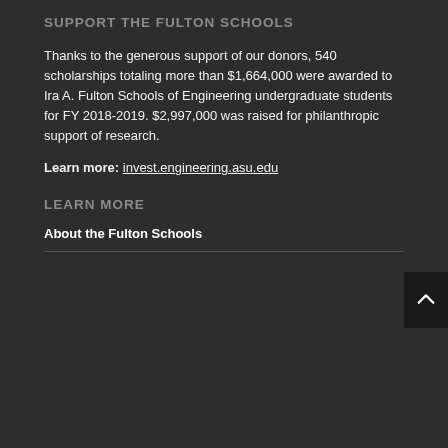SUPPORT THE FULTON SCHOOLS
Thanks to the generous support of our donors, 540 scholarships totaling more than $1,664,000 were awarded to Ira A. Fulton Schools of Engineering undergraduate students for FY 2018-2019. $2,997,000 was raised for philanthropic support of research.
Learn more: invest.engineering.asu.edu
LEARN MORE
About the Fulton Schools